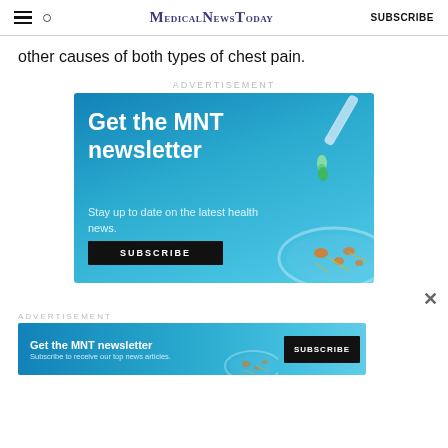MedicalNewsToday | SUBSCRIBE
other causes of both types of chest pain.
ADVERTISEMENT
[Figure (illustration): MNT newsletter advertisement banner with blue background, dropper and petri dish illustration. Text: 'Get the MNT newsletter. Stay up to date on the latest health news.' with a SUBSCRIBE button.]
ADVERTISEMENT
[Figure (illustration): Smaller MNT newsletter banner ad at bottom. Text: 'Get the MNT newsletter. Subscribe to receive our top news articles.' with a SUBSCRIBE button and petri dish illustration.]